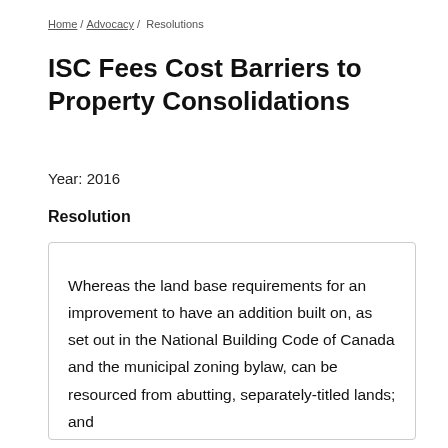Home / Advocacy / Resolutions
ISC Fees Cost Barriers to Property Consolidations
Year: 2016
Resolution
Whereas the land base requirements for an improvement to have an addition built on, as set out in the National Building Code of Canada and the municipal zoning bylaw, can be resourced from abutting, separately-titled lands; and